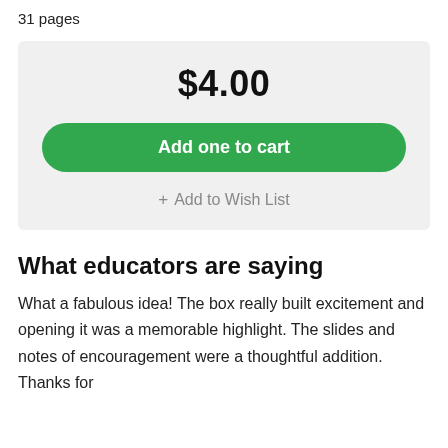31 pages
$4.00
Add one to cart
+ Add to Wish List
What educators are saying
What a fabulous idea! The box really built excitement and opening it was a memorable highlight. The slides and notes of encouragement were a thoughtful addition. Thanks for